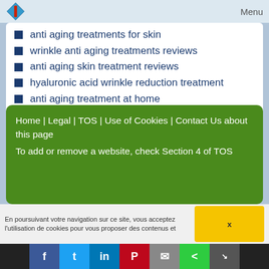Menu
anti aging treatments for skin
wrinkle anti aging treatments reviews
anti aging skin treatment reviews
hyaluronic acid wrinkle reduction treatment
anti aging treatment at home
aging skin treatments wrinkles
anti aging anti wrinkle eye cream
wrinkle anti aging treatments skin care
Home | Legal | TOS | Use of Cookies | Contact Us about this page
To add or remove a website, check Section 4 of TOS
En poursuivant votre navigation sur ce site, vous acceptez l'utilisation de cookies pour vous proposer des contenus et
X